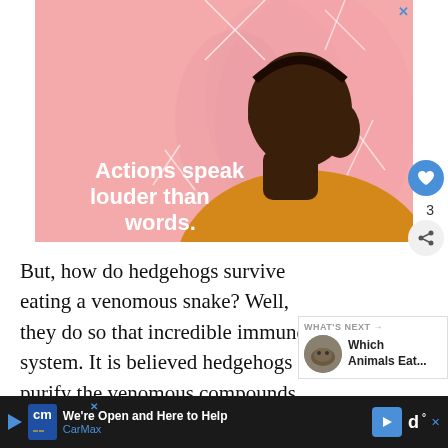[Figure (illustration): Advertisement illustration showing a person viewed from behind/side profile with dark skin, short hair, wearing a yellow turtleneck, on a pink swirly background. White bold text on the image reads: 'Actions speak louder than words.' There is an X close button in the top-right corner.]
But, how do hedgehogs survive eating a venomous snake? Well, they do so that incredible immune system. It is believed hedgehogs purify the venomous compounds
[Figure (photo): What's Next thumbnail showing a hedgehog photo with text 'WHAT'S NEXT → Which Animals Eat...']
[Figure (other): Bottom advertisement bar for CarMax: 'We're Open and Here to Help / CarMax' with play button, CarMax logo, navigation arrow icon, and close X button.]